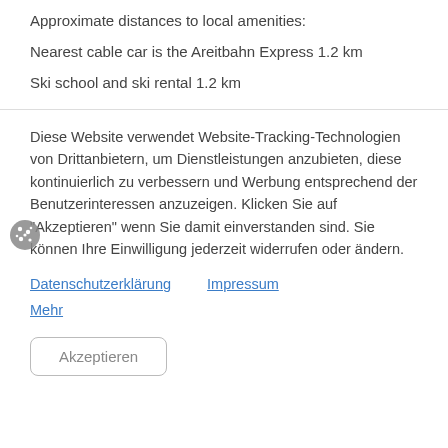Approximate distances to local amenities:
Nearest cable car is the Areitbahn Express 1.2 km
Ski school and ski rental 1.2 km
Diese Website verwendet Website-Tracking-Technologien von Drittanbietern, um Dienstleistungen anzubieten, diese kontinuierlich zu verbessern und Werbung entsprechend der Benutzerinteressen anzuzeigen. Klicken Sie auf "Akzeptieren" wenn Sie damit einverstanden sind. Sie können Ihre Einwilligung jederzeit widerrufen oder ändern.
Datenschutzerklärung    Impressum
Mehr
Akzeptieren